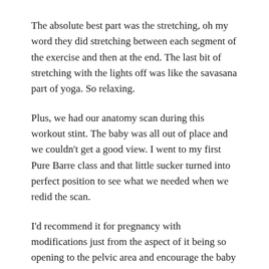The absolute best part was the stretching, oh my word they did stretching between each segment of the exercise and then at the end. The last bit of stretching with the lights off was like the savasana part of yoga. So relaxing.
Plus, we had our anatomy scan during this workout stint. The baby was all out of place and we couldn't get a good view. I went to my first Pure Barre class and that little sucker turned into perfect position to see what we needed when we redid the scan.
I'd recommend it for pregnancy with modifications just from the aspect of it being so opening to the pelvic area and encourage the baby into place.
Alright what else do I want to add? I loved it really.
Oh, the price.